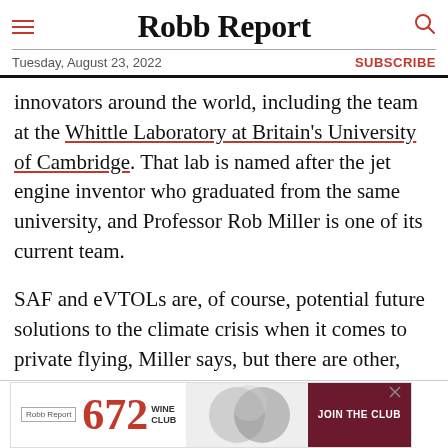Robb Report
Tuesday, August 23, 2022 | SUBSCRIBE
innovators around the world, including the team at the Whittle Laboratory at Britain's University of Cambridge. That lab is named after the jet engine inventor who graduated from the same university, and Professor Rob Miller is one of its current team.
SAF and eVTOLs are, of course, potential future solutions to the climate crisis when it comes to private flying, Miller says, but there are other, more unexpected ways that private aviation can lead the reduction in CO2. Take condensation
[Figure (screenshot): Advertisement banner for Robb Report 672 Wine Club with 'JOIN THE CLUB' call-to-action button]